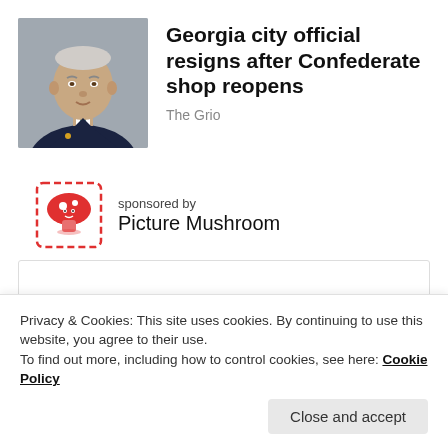[Figure (photo): Headshot of an older man in a dark suit with a teal tie, against a grey background]
Georgia city official resigns after Confederate shop reopens
The Grio
[Figure (logo): Picture Mushroom app logo — red mushroom icon inside a red dashed square frame]
sponsored by
Picture Mushroom
[Figure (other): Empty advertisement box]
Privacy & Cookies: This site uses cookies. By continuing to use this website, you agree to their use.
To find out more, including how to control cookies, see here: Cookie Policy
Close and accept